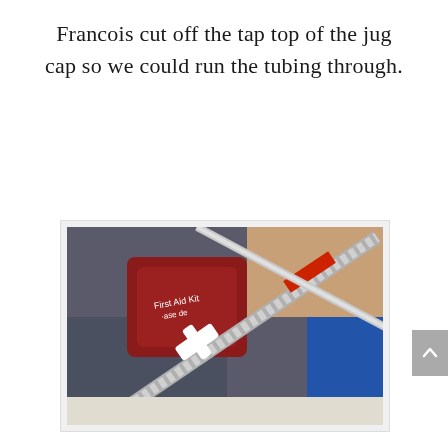Francois cut off the tap top of the jug cap so we could run the tubing through.
[Figure (photo): A hand holding a metal knurled rod with a red section near the top and a white T-shaped jug cap fitting midway along the rod. In the background are a red First Aid Kit bag, blue containers, and a person's jeans.]